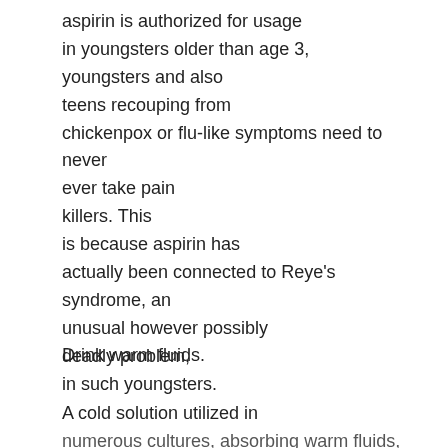aspirin is authorized for usage in youngsters older than age 3, youngsters and also teens recouping from chickenpox or flu-like symptoms need to never ever take pain killers. This is because aspirin has actually been connected to Reye's syndrome, an unusual however possibly deadly problem, in such youngsters.
Drink warm fluids.
A cold solution utilized in numerous cultures, absorbing warm fluids, such